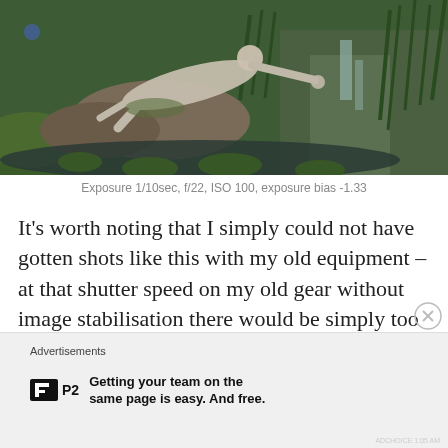[Figure (photo): Garden pond scene with a white stone statue of a reclining figure reaching over rocks, surrounded by lush green plants, lily pads in dark water, and a small waterfall cascading over rocky steps in the background.]
Exposure 1/10sec, f/22, ISO 100, exposure bias -1.33
It’s worth noting that I simply could not have gotten shots like this with my old equipment – at that shutter speed on my old gear without image stabilisation there would be simply too much blur to shoot handheld.
Advertisements
[Figure (logo): P2 logo: black square with white H-like symbol followed by text 'P2']
Getting your team on the same page is easy. And free.